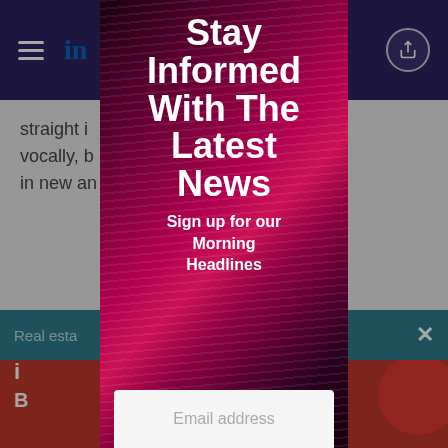LinkedIn share navigation bar
straight i... reacted vocally, b... reused in new an...
[Figure (screenshot): Red banner image with circular logo in background]
Real esta... side track
[Figure (infographic): Modal overlay popup with dark reddish-pink striped background showing newsletter signup]
Stay Informed With The Latest News
Sign up for our Morning Headlines
Email address